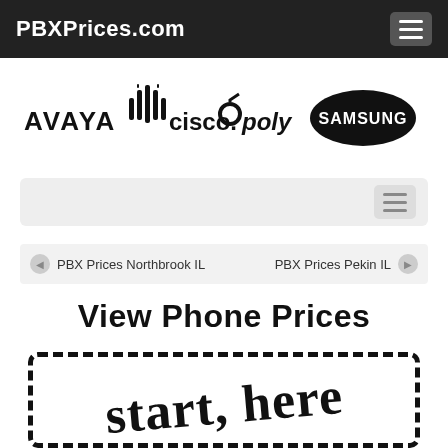PBXPrices.com
[Figure (logo): Brand logos: Avaya, Cisco, Poly, Samsung]
[Figure (screenshot): Search/filter bar with hamburger menu button]
PBX Prices Northbrook IL   PBX Prices Pekin IL
View Phone Prices
[Figure (illustration): Dashed border box with handwritten text 'start, here']